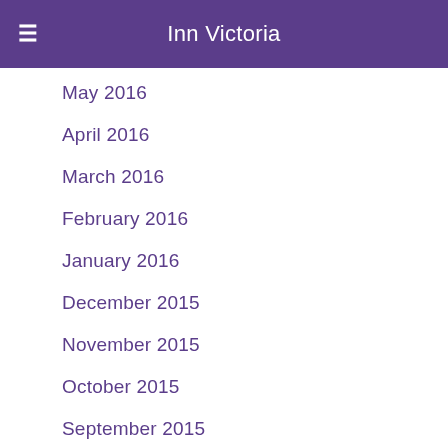Inn Victoria
May 2016
April 2016
March 2016
February 2016
January 2016
December 2015
November 2015
October 2015
September 2015
July 2015
June 2015